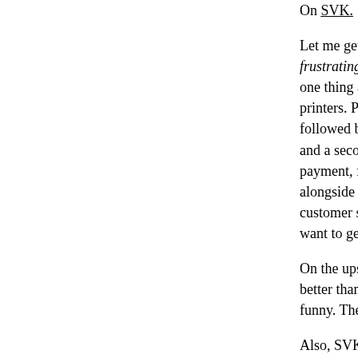On SVK.
Let me get off my chest what everyone in the studio knows: making SVK was frustrating. Warren and Matt Brooker finished the comic, and then it was one thing after another. Getting the layouts correct. Working with the printers. Printing (actually that was very handsome) followed by inventory of the delivery, followed by br... and a second inventory (this all takes a lot of time). payment, fulfilment, and invoicing systems. That's t... alongside and don't add to the elapsed time: prepa... customer support system, bookkeeping integration,... want to get it in your hands.
On the upside, the story is awesome, and the art is better than I had hoped. It's actually an excellent ya... funny. There was a risk that the twist would be gimm...
Also, SVK is a little crystal business.
We've integrated systems to do warehousing, fulfil... with the minimum of overhead. One of the big diffic... supply chain management, the work of channeling... directing them into the hands of customers. It's eas... that's what we've set up.
I feel like I've got a new hammer, and now I'm looki...